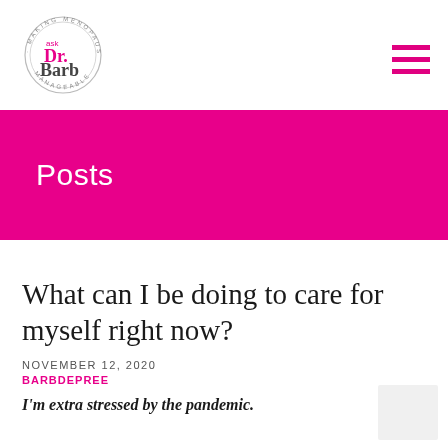[Figure (logo): Ask Dr. Barb circular logo with text 'MAKING MENOPAUSE MANAGEABLE' around a circle, pink and gray colors]
[Figure (other): Hamburger menu icon, three pink horizontal bars]
Posts
What can I be doing to care for myself right now?
NOVEMBER 12, 2020
BARBDEPREE
I'm extra stressed by the pandemic.